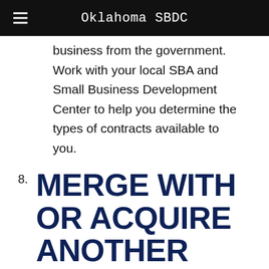Oklahoma SBDC
business from the government. Work with your local SBA and Small Business Development Center to help you determine the types of contracts available to you.
8. MERGE WITH OR ACQUIRE ANOTHER BUSINESS.
Two is always bigger than one. Investigate companies